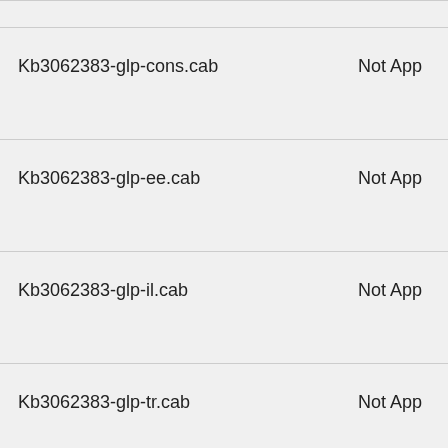| File | Status |
| --- | --- |
| Kb3062383-glp-cons.cab | Not App... |
| Kb3062383-glp-ee.cab | Not App... |
| Kb3062383-glp-il.cab | Not App... |
| Kb3062383-glp-tr.cab | Not App... |
| Kb3062383-syp-cons.cab | Not App... |